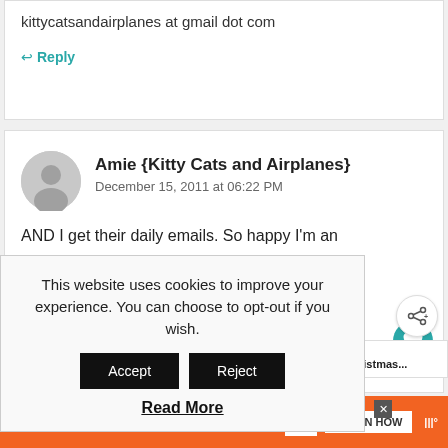kittycatsandairplanes at gmail dot com
↩ Reply
Amie {Kitty Cats and Airplanes}
December 15, 2011 at 06:22 PM
AND I get their daily emails. So happy I'm an
9am!
com
1
This website uses cookies to improve your experience. You can choose to opt-out if you wish.
Accept
Reject
Read More
WHAT'S NEXT → Homemade Christmas...
You can help hungry kids.
LEARN HOW